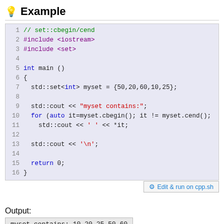Example
[Figure (screenshot): C++ code example showing set::cbegin/cend usage with line numbers 1-16, syntax highlighted]
Edit & run on cpp.sh
Output:
myset contains: 10 20 25 50 60